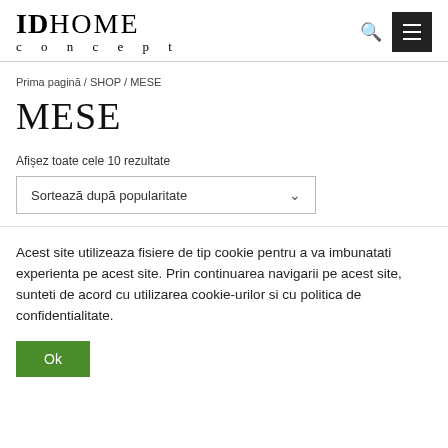IDHOME concept
Prima pagină / SHOP / MESE
MESE
Afișez toate cele 10 rezultate
Sortează după popularitate
Acest site utilizeaza fisiere de tip cookie pentru a va imbunatati experienta pe acest site. Prin continuarea navigarii pe acest site, sunteti de acord cu utilizarea cookie-urilor si cu politica de confidentialitate.
Ok